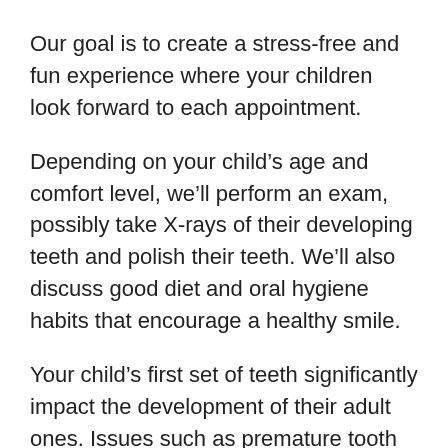Our goal is to create a stress-free and fun experience where your children look forward to each appointment.
Depending on your child’s age and comfort level, we’ll perform an exam, possibly take X-rays of their developing teeth and polish their teeth. We’ll also discuss good diet and oral hygiene habits that encourage a healthy smile.
Your child’s first set of teeth significantly impact the development of their adult ones. Issues such as premature tooth loss or habits like thumb sucking can drastically alter jaw formation and alignment of permanent teeth. Dr. [name] (Dentist) will carefully...